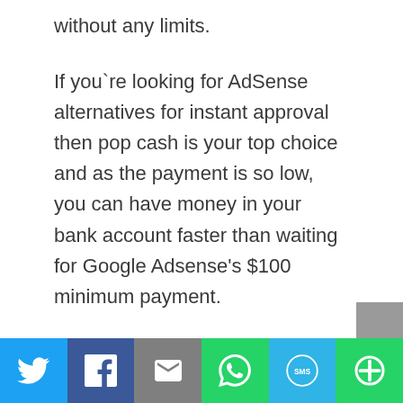without any limits.
If you`re looking for AdSense alternatives for instant approval then pop cash is your top choice and as the payment is so low, you can have money in your bank account faster than waiting for Google Adsense's $100 minimum payment.
It`s also our top choice when you think of any AdSense alternatives for small websites.
[Figure (infographic): Social media share bar with six buttons: Twitter (blue), Facebook (dark blue), Email (grey), WhatsApp (green), SMS (light blue), More (green)]